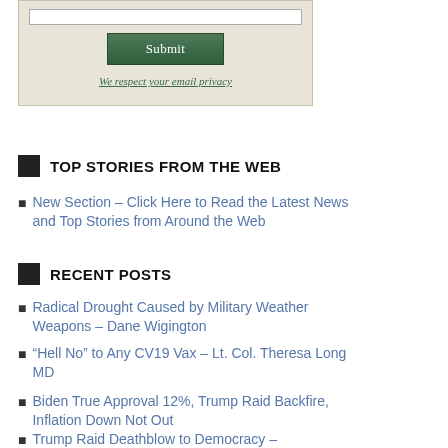[Figure (other): Form box with submit button and privacy link on beige background]
We respect your email privacy
TOP STORIES FROM THE WEB
New Section – Click Here to Read the Latest News and Top Stories from Around the Web
RECENT POSTS
Radical Drought Caused by Military Weather Weapons – Dane Wigington
“Hell No” to Any CV19 Vax – Lt. Col. Theresa Long MD
Biden True Approval 12%, Trump Raid Backfire, Inflation Down Not Out
Trump Raid Deathblow to Democracy –